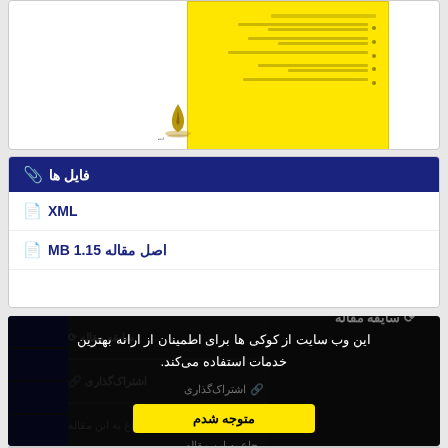[Figure (screenshot): Document preview thumbnail with yellow background showing a Persian text document with bullet points and a logo at the bottom]
فایل ها
XML
اصل مقاله 1.15 MB
سایقه مقاله
این وب سایت از کوکی ها برای اطمینان از ارانه بهترین خدمات استفاده می‌کند.
اشتراک‌گذاری
متوجه شدم
رجاع به این مقاله